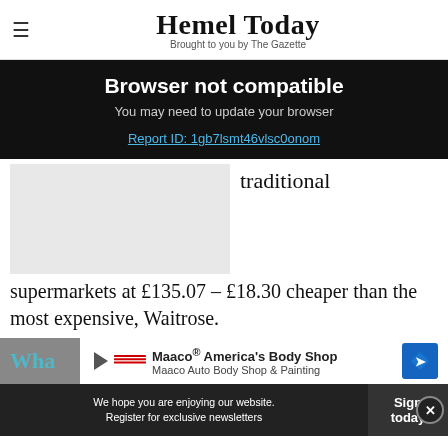Hemel Today — Brought to you by The Gazette
Browser not compatible
You may need to update your browser
Report ID: 1gb7lsmt46vlsc0onom
[Figure (photo): Article image placeholder (grey rectangle)]
traditional
supermarkets at £135.07 – £18.30 cheaper than the most expensive, Waitrose.
Wha
[Figure (infographic): Maaco® America's Body Shop advertisement — Maaco Auto Body Shop & Painting]
We hope you are enjoying our website. Register for exclusive newsletters | Sign today